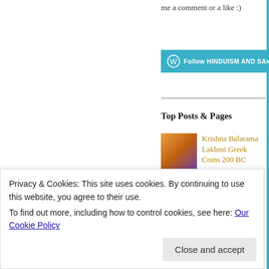me a comment or a like :)
[Figure (other): Follow HINDUISM AND SA... button (blue WordPress follow button)]
Top Posts & Pages
Krishna Balarama Lakhmi Greek Coins 200 BC
One God in-Srimad Bhagavad Gita-एको देवः सर्वभूतेषु गूढः सर्वः: सर्वभूतान्तरात्मा: सर्वः:
Bhagvat Gita and second law of
Privacy & Cookies: This site uses cookies. By continuing to use this website, you agree to their use.
To find out more, including how to control cookies, see here: Our Cookie Policy